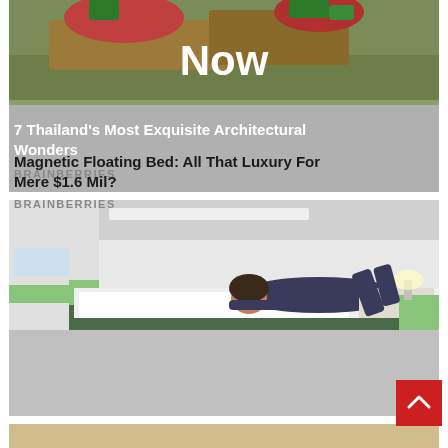[Figure (photo): Partial view of a colorful food/nature image with large white text 'Now' overlaid. Bottom portion shows gray background with article title text.]
7 Thailand's Most Exquisite Architectural Wonders
BRAINBERRIES
[Figure (photo): A young woman lying on her stomach on a white low-profile floating bed in a modern minimalist white room, reading a book.]
Magnetic Floating Bed: All That Luxury For Mere $1.6 Mil?
BRAINBERRIES
[Figure (photo): Partial view of a third article card visible at the bottom of the page.]